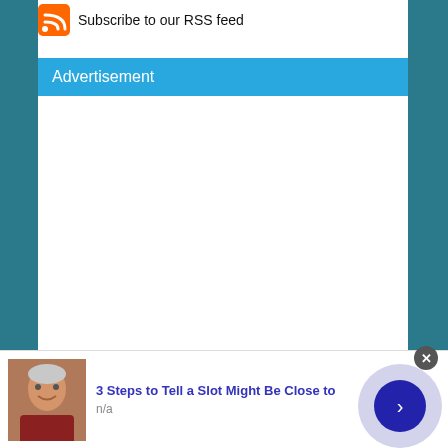[Figure (logo): RSS feed icon (orange square with white signal arcs)]
Subscribe to our RSS feed
Advertisement
[Figure (other): Advertisement placeholder area (blank white)]
[Figure (photo): Thumbnail photo of an elderly smiling man in a red shirt]
3 Steps to Tell a Slot Might Be Close to
n/a